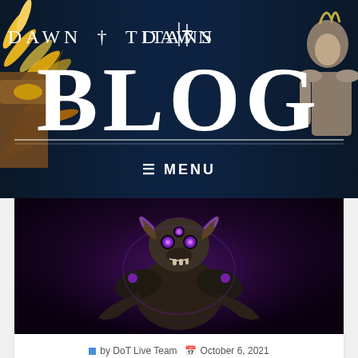[Figure (illustration): Dawn of Titans Blog header banner with dark navy background, gold feathered wing on the left, armored titan figure on the right, 'DAWN OF TITANS' text at top and large 'BLOG' text below with horizontal rules, and a MENU bar at the bottom of the banner]
[Figure (illustration): Dark fantasy game character - a minotaur-like creature with bull horns and glowing purple eyes, wearing dark armor, on a dark purple background]
LIVE UPDATE 06/10/2021
by DoT Live Team   October 6, 2021